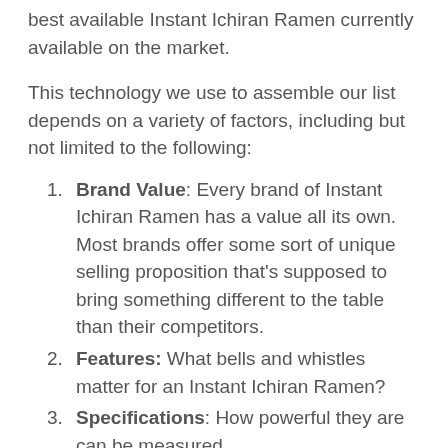best available Instant Ichiran Ramen currently available on the market.
This technology we use to assemble our list depends on a variety of factors, including but not limited to the following:
Brand Value: Every brand of Instant Ichiran Ramen has a value all its own. Most brands offer some sort of unique selling proposition that's supposed to bring something different to the table than their competitors.
Features: What bells and whistles matter for an Instant Ichiran Ramen?
Specifications: How powerful they are can be measured.